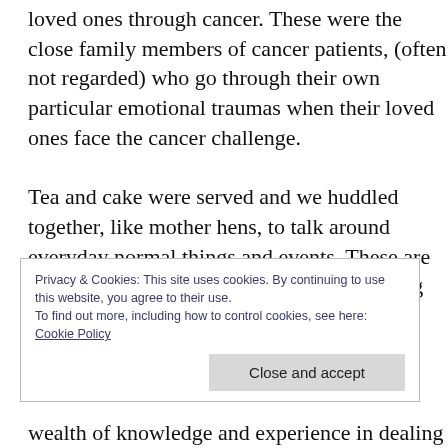loved ones through cancer.  These were the close family members of cancer patients, (often not regarded) who go through their own particular emotional traumas when their loved ones face the cancer challenge.
Tea and cake were served and we huddled together, like mother hens, to talk around everyday normal things and events.  These are things women do best  – apart from surviving cancer !
The scheduled programme of listening to an
Privacy & Cookies: This site uses cookies. By continuing to use this website, you agree to their use.
To find out more, including how to control cookies, see here:
Cookie Policy
Close and accept
wealth of knowledge and experience in dealing